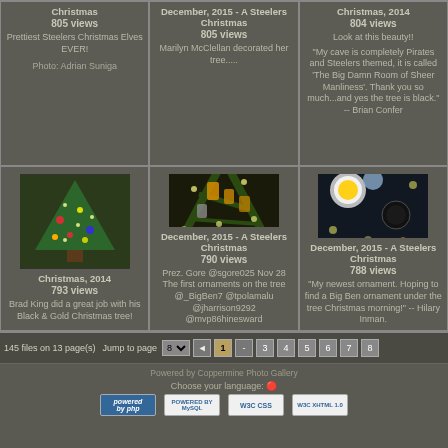[Figure (photo): Cell 1 top-left: text-only, no image shown. Title: Christmas. 805 views. Prettiest Steelers Christmas Elves EVER! Photo: Adrian Suniga]
[Figure (photo): Cell 2 top-middle: text-only. Title: December, 2015 - A Steelers Christmas. 805 views. Marilyn McClellan decorated her tree.....]
[Figure (photo): Cell 3 top-right: text-only. Title: Christmas, 2014. 804 views. Look at this beauty!! My cave quote by Brian Confer.]
[Figure (photo): Cell 4 bottom-left: photo of Christmas tree with ornaments. Christmas, 2014. 793 views. Brad King did a great job with his Black & Gold Christmas tree!]
[Figure (photo): Cell 5 bottom-middle: photo of tree ornaments close-up. December, 2015 - A Steelers Christmas. 790 views. Prez. Gore mention.]
[Figure (photo): Cell 6 bottom-right: photo of Steelers ornaments. December, 2015 - A Steelers Christmas. 788 views. My newest ornament by Hilary Inman.]
145 files on 13 page(s)
Jump to page 8
Powered by Coppermine Photo Gallery
Choose your language: